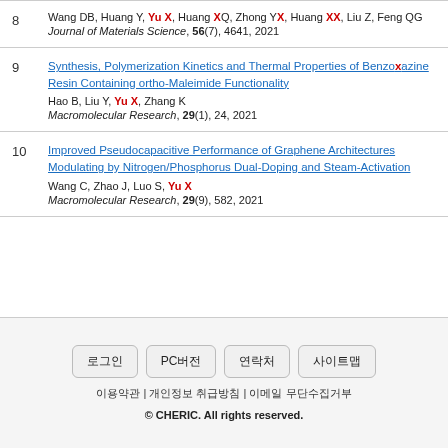8 tetracycline hydrochloride Wang DB, Huang Y, Yu X, Huang XQ, Zhong YX, Huang XX, Liu Z, Feng QG Journal of Materials Science, 56(7), 4641, 2021
9 Synthesis, Polymerization Kinetics and Thermal Properties of Benzoxazine Resin Containing ortho-Maleimide Functionality Hao B, Liu Y, Yu X, Zhang K Macromolecular Research, 29(1), 24, 2021
10 Improved Pseudocapacitive Performance of Graphene Architectures Modulating by Nitrogen/Phosphorus Dual-Doping and Steam-Activation Wang C, Zhao J, Luo S, Yu X Macromolecular Research, 29(9), 582, 2021
로그인 | PC버전 | 연락처 | 사이트맵 | 이용약관 | 개인정보 취급방침 | 이메일 무단수집거부 | © CHERIC. All rights reserved.